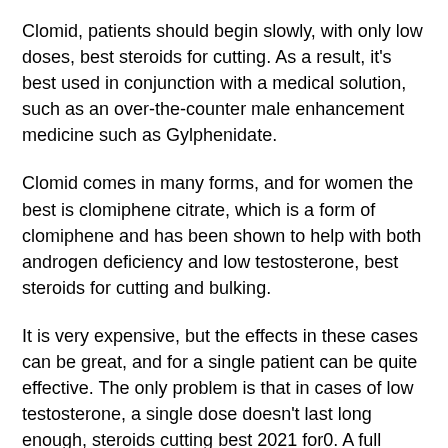Clomid, patients should begin slowly, with only low doses, best steroids for cutting. As a result, it's best used in conjunction with a medical solution, such as an over-the-counter male enhancement medicine such as Gylphenidate.
Clomid comes in many forms, and for women the best is clomiphene citrate, which is a form of clomiphene and has been shown to help with both androgen deficiency and low testosterone, best steroids for cutting and bulking.
It is very expensive, but the effects in these cases can be great, and for a single patient can be quite effective. The only problem is that in cases of low testosterone, a single dose doesn't last long enough, steroids cutting best 2021 for0. A full treatment cycle should last at least 3 months, and should